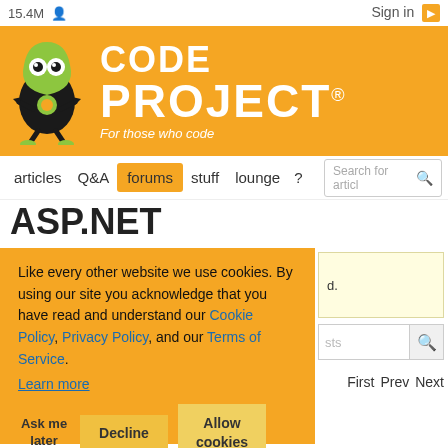15.4M  Sign in
[Figure (logo): CodeProject logo: orange banner with green alien mascot and white text CODE PROJECT For those who code]
articles  Q&A  forums  stuff  lounge  ?  Search for articles
ASP.NET
Like every other website we use cookies. By using our site you acknowledge that you have read and understand our Cookie Policy, Privacy Policy, and our Terms of Service.
Learn more
Ask me later  Decline  Allow cookies
d.
sts
First  Prev  Next
Re: pls help